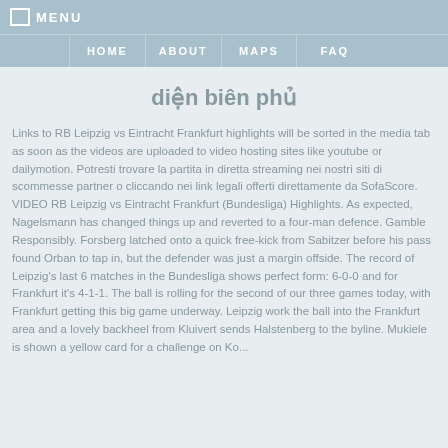☰ MENU
HOME | ABOUT | MAPS | FAQ
diện biên phủ
Links to RB Leipzig vs Eintracht Frankfurt highlights will be sorted in the media tab as soon as the videos are uploaded to video hosting sites like youtube or dailymotion. Potresti trovare la partita in diretta streaming nei nostri siti di scommesse partner o cliccando nei link legali offerti direttamente da SofaScore. VIDEO RB Leipzig vs Eintracht Frankfurt (Bundesliga) Highlights. As expected, Nagelsmann has changed things up and reverted to a four-man defence. Gamble Responsibly. Forsberg latched onto a quick free-kick from Sabitzer before his pass found Orban to tap in, but the defender was just a margin offside. The record of Leipzig's last 6 matches in the Bundesliga shows perfect form: 6-0-0 and for Frankfurt it's 4-1-1. The ball is rolling for the second of our three games today, with Frankfurt getting this big game underway. Leipzig work the ball into the Frankfurt area and a lovely backheel from Kluivert sends Halstenberg to the byline. Mukiele is shown a yellow card for a challenge on Ko...